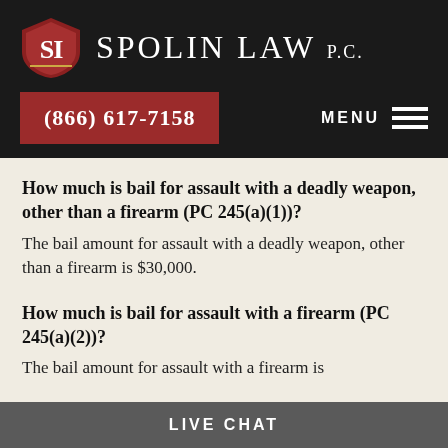Spolin Law P.C.
(866) 617-7158
MENU
How much is bail for assault with a deadly weapon, other than a firearm (PC 245(a)(1))?
The bail amount for assault with a deadly weapon, other than a firearm is $30,000.
How much is bail for assault with a firearm (PC 245(a)(2))?
The bail amount for assault with a firearm is
LIVE CHAT